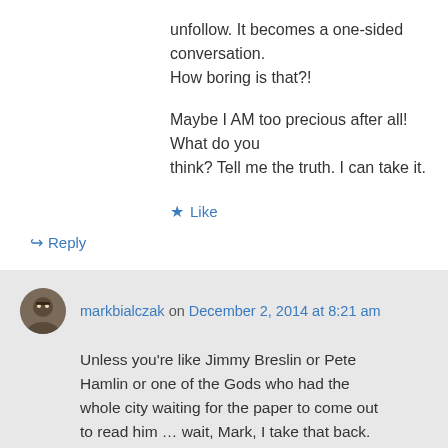unfollow. It becomes a one-sided conversation. How boring is that?!
Maybe I AM too precious after all! What do you think? Tell me the truth. I can take it.
★ Like
↪ Reply
markbialczak on December 2, 2014 at 8:21 am
Unless you're like Jimmy Breslin or Pete Hamlin or one of the Gods who had the whole city waiting for the paper to come out to read him … wait, Mark, I take that back. Those guys had the immediate